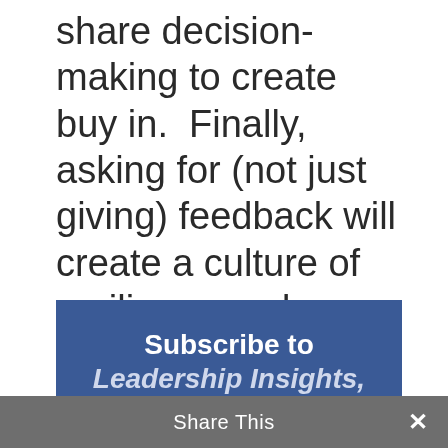share decision-making to create buy in.  Finally, asking for (not just giving) feedback will create a culture of resilience and openness so your organization can continue to succeed even under change and stress.
[Figure (other): Blue subscription call-to-action banner reading 'Subscribe to Leadership Insights, the blog that' with a grey share bar overlay at the bottom]
Share This